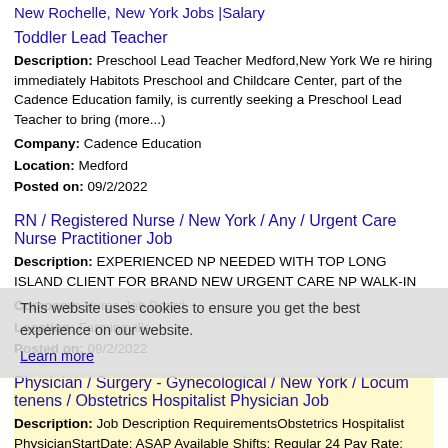New Rochelle, New York Jobs |Salary
Toddler Lead Teacher
Description: Preschool Lead Teacher Medford,New York We re hiring immediately Habitots Preschool and Childcare Center, part of the Cadence Education family, is currently seeking a Preschool Lead Teacher to bring (more...)
Company: Cadence Education
Location: Medford
Posted on: 09/2/2022
RN / Registered Nurse / New York / Any / Urgent Care Nurse Practitioner Job
Description: EXPERIENCED NP NEEDED WITH TOP LONG ISLAND CLIENT FOR BRAND NEW URGENT CARE NP WALK-IN
Company: Nurse Job Board
Location: Farmingville
Posted on: 09/2/2022
Physician / Surgery - Gynecological / New York / Locum tenens / Obstetrics Hospitalist Physician Job
Description: Job Description RequirementsObstetrics Hospitalist PhysicianStartDate: ASAP Available Shifts: Regular 24 Pay Rate: 113.00 - 125.00This facility is seeking an Obstetrics Hospitalist